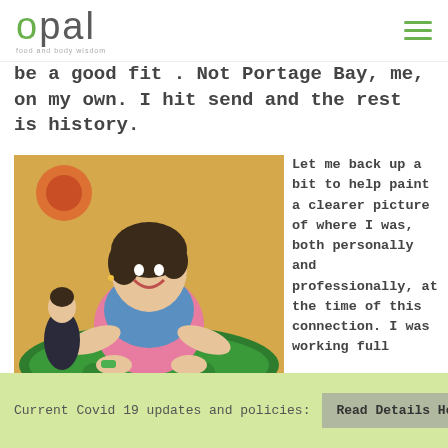opal
be a good fit . Not Portage Bay, me, on my own. I hit send and the rest is history.
[Figure (photo): Woman smiling doing yoga pose on a green mat in a yoga studio, another person seated in background]
Let me back up a bit to help paint a clearer picture of where I was, both personally and professionally, at the time of this connection. I was working full
Current Covid 19 updates and policies:
Read Details Here